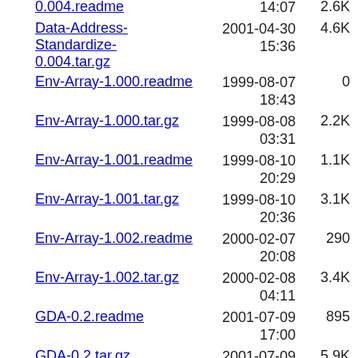0.004.readme  14:07  2.6K
Data-Address-Standardize-0.004.tar.gz  2001-04-30 15:36  4.6K
Env-Array-1.000.readme  1999-08-07 18:43  0
Env-Array-1.000.tar.gz  1999-08-08 03:31  2.2K
Env-Array-1.001.readme  1999-08-10 20:29  1.1K
Env-Array-1.001.tar.gz  1999-08-10 20:36  3.1K
Env-Array-1.002.readme  2000-02-07 20:08  290
Env-Array-1.002.tar.gz  2000-02-08 04:11  3.4K
GDA-0.2.readme  2001-07-09 17:00  895
GDA-0.2.tar.gz  2001-07-09 21:15  5.9K
Games-Chess-Referee-0.002.readme  1999-04-26 15:24  4.3K
Games-Chess-Referee-0.002.tar.gz  1999-05-03 10:24  6.8K